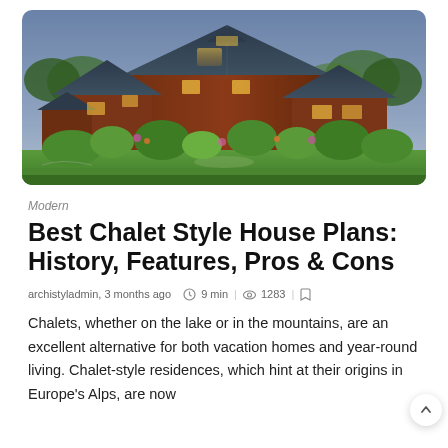[Figure (photo): Aerial/exterior view of a large chalet-style house with dark wood siding, steep rooflines, and surrounded by lush green gardens and trees at dusk/evening.]
Modern
Best Chalet Style House Plans: History, Features, Pros & Cons
archistyladmin, 3 months ago  9 min  1283
Chalets, whether on the lake or in the mountains, are an excellent alternative for both vacation homes and year-round living. Chalet-style residences, which hint at their origins in Europe's Alps, are now